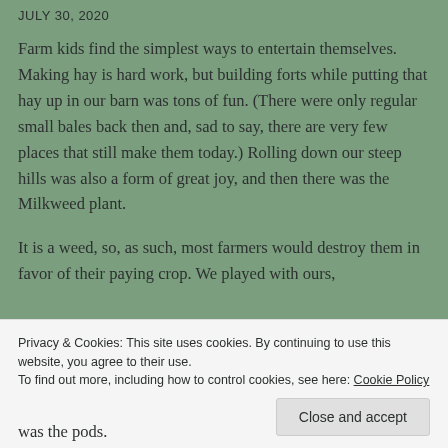JULY 30, 2020
Farm kids find the simplest ways to entertain themselves.  Making hay is hard work, but building forts while putting that hay up in our barn was tons of fun.  (There were only regular small bales back then and, sad to say, there are very few places that still make them today.)  Rolling down our steep hills was also a form of great joy, and then there was the Milkweed plant.
It is a weed, so, as such,  most farmers would destroy them in favor of their paying crop.  We played with ours,
Privacy & Cookies: This site uses cookies. By continuing to use this website, you agree to their use.
To find out more, including how to control cookies, see here: Cookie Policy
Close and accept
was the pods.